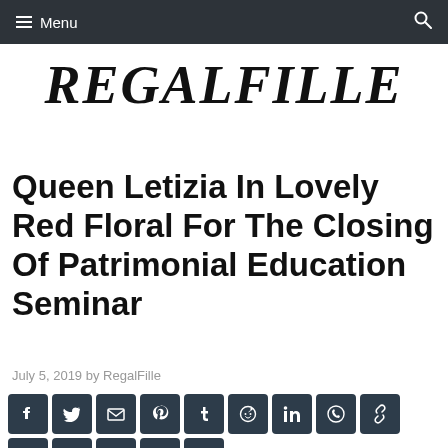Menu
REGALFILLE
Queen Letizia In Lovely Red Floral For The Closing Of Patrimonial Education Seminar
July 5, 2019 by RegalFille
[Figure (other): Social media sharing icons: Facebook, Twitter, Email, Pinterest, Tumblr, Reddit, LinkedIn, WhatsApp, Link, Flipboard, Gmail, Snapchat, Telegram, More]